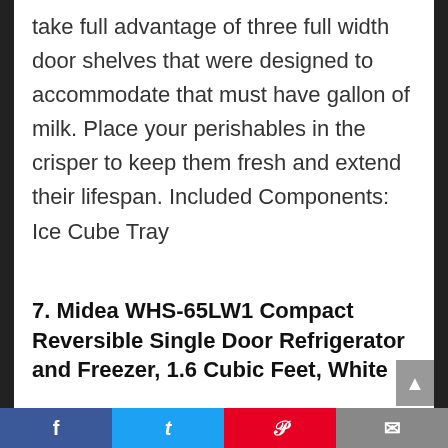take full advantage of three full width door shelves that were designed to accommodate that must have gallon of milk. Place your perishables in the crisper to keep them fresh and extend their lifespan. Included Components: Ice Cube Tray
7. Midea WHS-65LW1 Compact Reversible Single Door Refrigerator and Freezer, 1.6 Cubic Feet, White
[Figure (photo): Photo of Midea WHS-65LW1 compact white refrigerator with door open showing interior and drinks inside]
Facebook  Twitter  Pinterest  Email